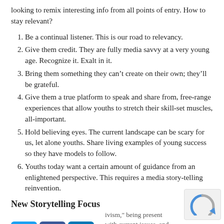looking to remix interesting info from all points of entry. How to stay relevant?
Be a continual listener. This is our road to relevancy.
Give them credit. They are fully media savvy at a very young age. Recognize it. Exalt in it.
Bring them something they can't create on their own; they'll be grateful.
Give them a true platform to speak and share from, free-range experiences that allow youths to stretch their skill-set muscles, all-important.
Hold believing eyes. The current landscape can be scary for us, let alone youths. Share living examples of young success so they have models to follow.
Youths today want a certain amount of guidance from an enlightened perspective. This requires a media story-telling reinvention.
New Storytelling Focus
ivism," being present with current issues, and storytelling.